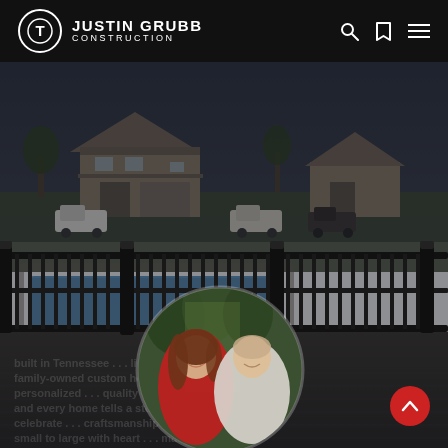Justin Grubb Construction
[Figure (photo): Outdoor deck area with black metal railing overlooking a swimming pool and residential homes in the background, under a dark/evening sky. A circular inset portrait photo shows a smiling couple (woman in red dress, man in light grey shirt) in a wooded setting.]